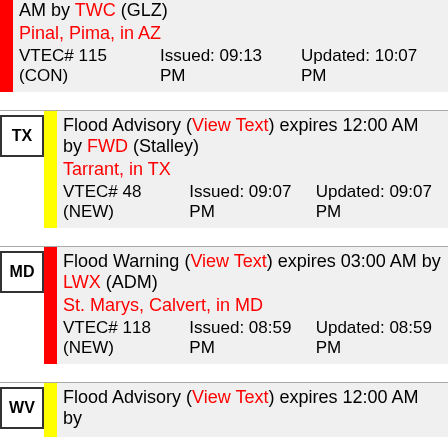AM by TWC (GLZ)
Pinal, Pima, in AZ
VTEC# 115 (CON) Issued: 09:13 PM Updated: 10:07 PM
TX Flood Advisory (View Text) expires 12:00 AM by FWD (Stalley)
Tarrant, in TX
VTEC# 48 (NEW) Issued: 09:07 PM Updated: 09:07 PM
MD Flood Warning (View Text) expires 03:00 AM by LWX (ADM)
St. Marys, Calvert, in MD
VTEC# 118 (NEW) Issued: 08:59 PM Updated: 08:59 PM
WV Flood Advisory (View Text) expires 12:00 AM by